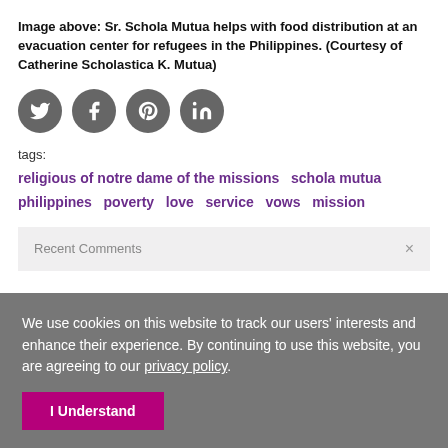Image above: Sr. Schola Mutua helps with food distribution at an evacuation center for refugees in the Philippines. (Courtesy of Catherine Scholastica K. Mutua)
[Figure (other): Four social media share buttons: Twitter, Facebook, Pinterest, LinkedIn — dark grey circles with white icons]
tags:
religious of notre dame of the missions   schola mutua   philippines   poverty   love   service   vows   mission
Recent Comments
We use cookies on this website to track our users' interests and enhance their experience. By continuing to use this website, you are agreeing to our privacy policy.
I Understand